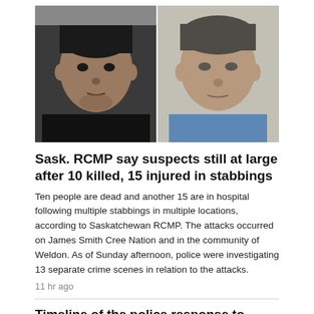[Figure (photo): Two suspects side by side: left person in dark shirt with short black hair; right person in blue shirt with short dark hair. Both appear to be mugshot-style photos.]
Sask. RCMP say suspects still at large after 10 killed, 15 injured in stabbings
Ten people are dead and another 15 are in hospital following multiple stabbings in multiple locations, according to Saskatchewan RCMP. The attacks occurred on James Smith Cree Nation and in the community of Weldon. As of Sunday afternoon, police were investigating 13 separate crime scenes in relation to the attacks.
11 hr ago
Timeline of the police response to stabbings in Saskatchewan that killed at least 10